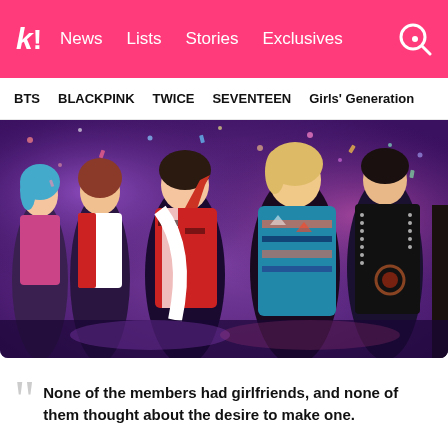K! News Lists Stories Exclusives
BTS BLACKPINK TWICE SEVENTEEN Girls' Generation
[Figure (photo): K-pop group members standing on stage in colorful patterned jackets and outfits, with confetti falling, at what appears to be an awards show or concert performance.]
None of the members had girlfriends, and none of them thought about the desire to make one.